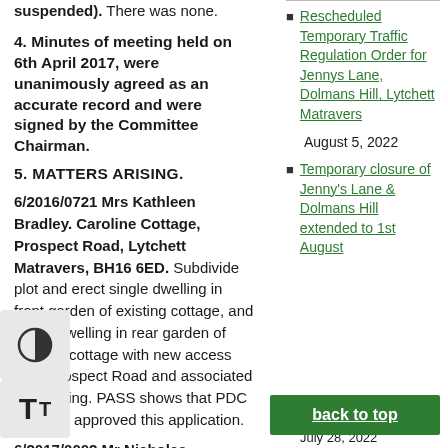suspended). There was none.
4. Minutes of meeting held on 6th April 2017, were unanimously agreed as an accurate record and were signed by the Committee Chairman.
5. MATTERS ARISING.
6/2016/0721 Mrs Kathleen Bradley. Caroline Cottage, Prospect Road, Lytchett Matravers, BH16 6ED. Subdivide plot and erect single dwelling in front garden of existing cottage, and single dwelling in rear garden of existing cottage with new access from Prospect Road and associated car parking. PASS shows that PDC has now approved this application.
6/2017/0002 Mr Nicholas Rubenstein.
Rescheduled Temporary Traffic Regulation Order for Jennys Lane, Dolmans Hill, Lytchett Matravers
August 5, 2022
Temporary closure of Jenny's Lane & Dolmans Hill extended to 1st August
July 28, 2022
back to top